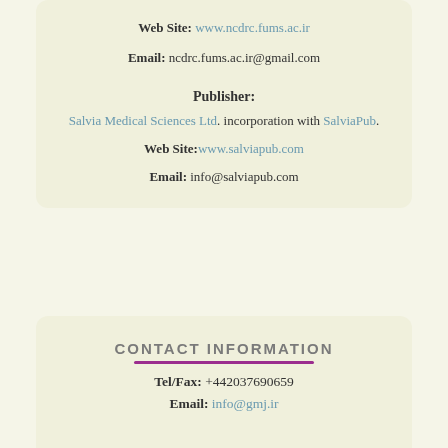Web Site: www.ncdrc.fums.ac.ir
Email: ncdrc.fums.ac.ir@gmail.com
Publisher:
Salvia Medical Sciences Ltd. incorporation with SalviaPub.
Web Site: www.salviapub.com
Email: info@salviapub.com
CONTACT INFORMATION
Tel/Fax: +442037690659
Email: info@gmj.ir